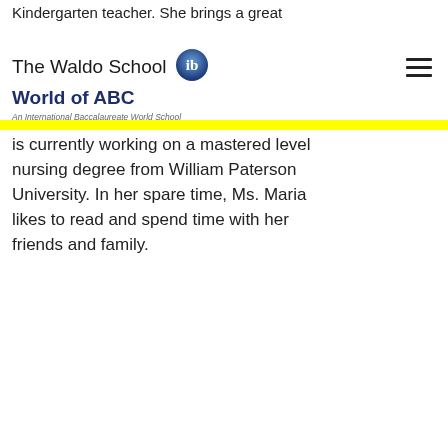Kindergarten teacher. She brings a great
The Waldo School World of ABC — An International Baccalaureate World School
is currently working on a mastered level nursing degree from William Paterson University. In her spare time, Ms. Maria likes to read and spend time with her friends and family.